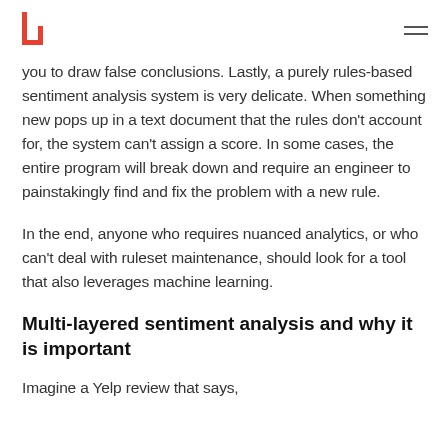[Logo] [Hamburger menu]
you to draw false conclusions. Lastly, a purely rules-based sentiment analysis system is very delicate. When something new pops up in a text document that the rules don't account for, the system can't assign a score. In some cases, the entire program will break down and require an engineer to painstakingly find and fix the problem with a new rule.
In the end, anyone who requires nuanced analytics, or who can't deal with ruleset maintenance, should look for a tool that also leverages machine learning.
Multi-layered sentiment analysis and why it is important
Imagine a Yelp review that says,